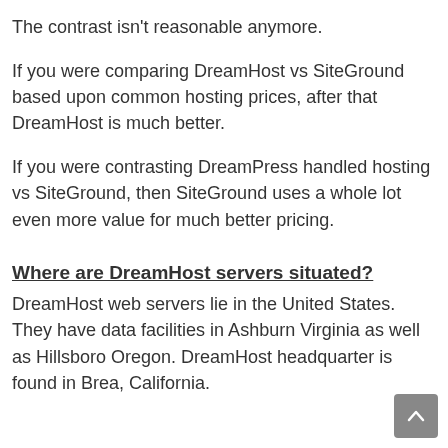The contrast isn't reasonable anymore.
If you were comparing DreamHost vs SiteGround based upon common hosting prices, after that DreamHost is much better.
If you were contrasting DreamPress handled hosting vs SiteGround, then SiteGround uses a whole lot even more value for much better pricing.
Where are DreamHost servers situated?
DreamHost web servers lie in the United States. They have data facilities in Ashburn Virginia as well as Hillsboro Oregon. DreamHost headquarter is found in Brea, California.